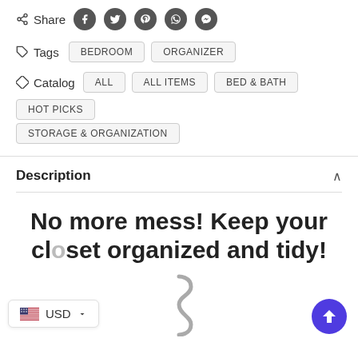Share (social icons: Facebook, Twitter, Pinterest, WhatsApp, Messenger)
Tags  BEDROOM  ORGANIZER
Catalog  ALL  ALL ITEMS  BED & BATH  HOT PICKS  STORAGE & ORGANIZATION
Description
No more mess! Keep your closet organized and tidy!
[Figure (illustration): Partial image of a metal S-hook or closet organizer hook, silver/grey colored, visible at bottom of page]
USD (currency selector with US flag)